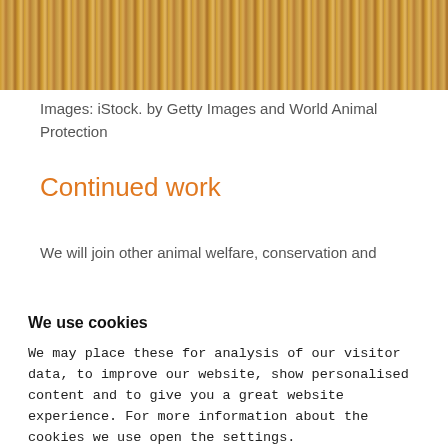[Figure (photo): Photograph of golden dry grass/reeds in warm tones, cropped at top of page]
Images: iStock. by Getty Images and World Animal Protection
Continued work
We will join other animal welfare, conservation and
We use cookies
We may place these for analysis of our visitor data, to improve our website, show personalised content and to give you a great website experience. For more information about the cookies we use open the settings.
Ok, continue
Deny
No, adjust